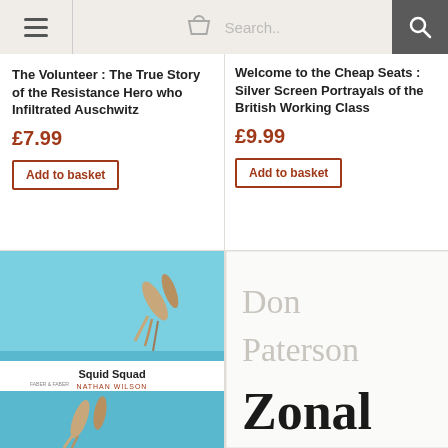Navigation bar with hamburger menu, basket icon, search field, and search button
The Volunteer : The True Story of the Resistance Hero who Infiltrated Auschwitz
£7.99
Add to basket
Welcome to the Cheap Seats : Silver Screen Portrayals of the British Working Class
£9.99
Add to basket
[Figure (photo): Book cover for Squid Squad by Nathan Wilson, showing squid/diving figures against a blue background with a white band]
[Figure (photo): Book cover for Zonal by Don Paterson, white background with large grey author name and bold black title]